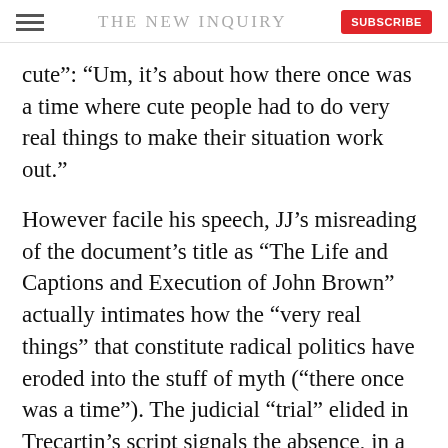THE NEW INQUIRY
cute”: “Um, it’s about how there once was a time where cute people had to do very real things to make their situation work out.”
However facile his speech, JJ’s misreading of the document’s title as “The Life and Captions and Execution of John Brown” actually intimates how the “very real things” that constitute radical politics have eroded into the stuff of myth (“there once was a time”). The judicial “trial” elided in Trecartin’s script signals the absence, in a digital environment characterized by identity and history “enhancement,” of the gravity and finitude of law. Meanwhile its replacement by “captions” undoes the punitive, lethal